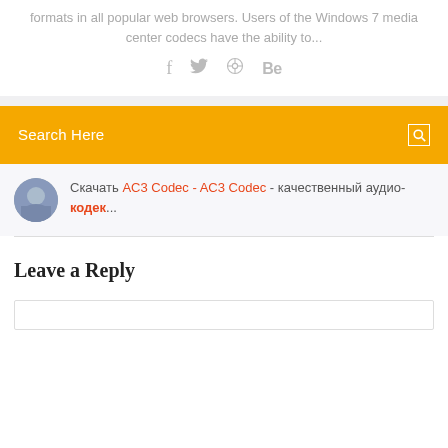formats in all popular web browsers. Users of the Windows 7 media center codecs have the ability to...
[Figure (other): Social media icons: Facebook (f), Twitter (bird), Dribbble (wheel), Behance (Be)]
Search Here
Скачать AC3 Codec - AC3 Codec - качественный аудио-кодек...
Leave a Reply